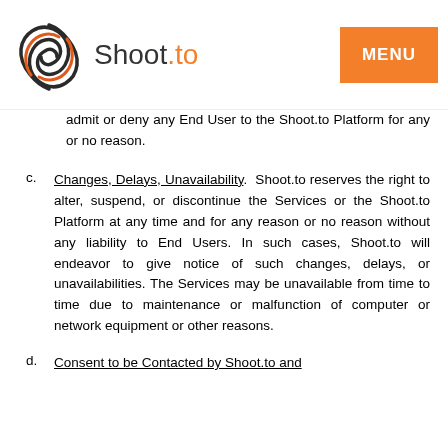Shoot.to | MENU
admit or deny any End User to the Shoot.to Platform for any or no reason.
c. Changes, Delays, Unavailability. Shoot.to reserves the right to alter, suspend, or discontinue the Services or the Shoot.to Platform at any time and for any reason or no reason without any liability to End Users. In such cases, Shoot.to will endeavor to give notice of such changes, delays, or unavailabilities. The Services may be unavailable from time to time due to maintenance or malfunction of computer or network equipment or other reasons.
d. Consent to be Contacted by Shoot.to and